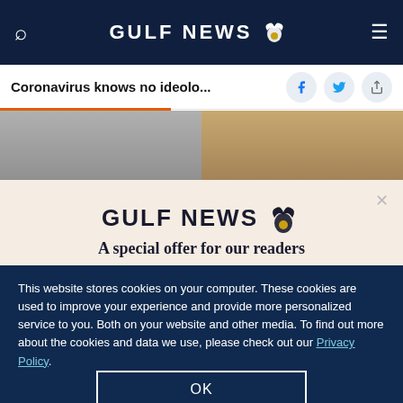GULF NEWS
Coronavirus knows no ideolo...
[Figure (screenshot): Two partial photo images side by side, left showing a person, right showing a person outdoors]
A special offer for our readers
Get the two years All-Access subscription now
This website stores cookies on your computer. These cookies are used to improve your experience and provide more personalized service to you. Both on your website and other media. To find out more about the cookies and data we use, please check out our Privacy Policy.
OK